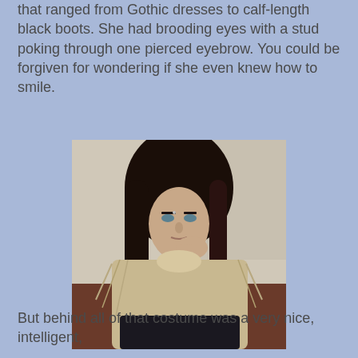that ranged from Gothic dresses to calf-length black boots. She had brooding eyes with a stud poking through one pierced eyebrow. You could be forgiven for wondering if she even knew how to smile.
[Figure (photo): A young woman with long dark hair wearing a loose, frayed beige knit top, sitting and resting her chin on her hand, with a brooding expression.]
But behind all of that costume was a very nice, intelligent,